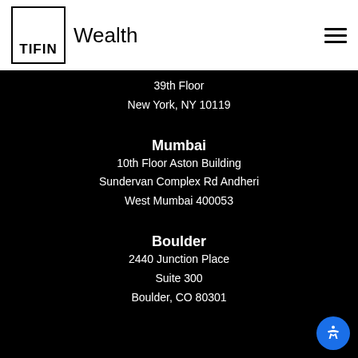[Figure (logo): TIFIN Wealth logo with box border and text]
39th Floor
New York, NY 10119
Mumbai
10th Floor Aston Building
Sundervan Complex Rd Andheri
West Mumbai 400053
Boulder
2440 Junction Place
Suite 300
Boulder, CO 80301